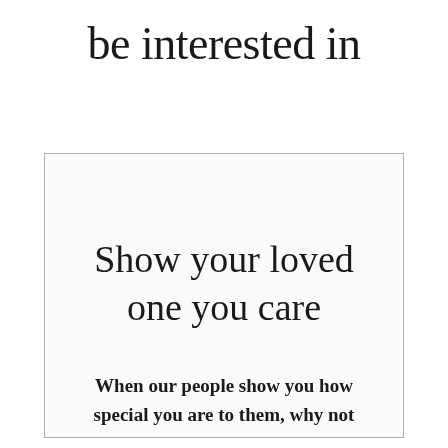be interested in
Show your loved one you care
When our people show you how special you are to them, why not